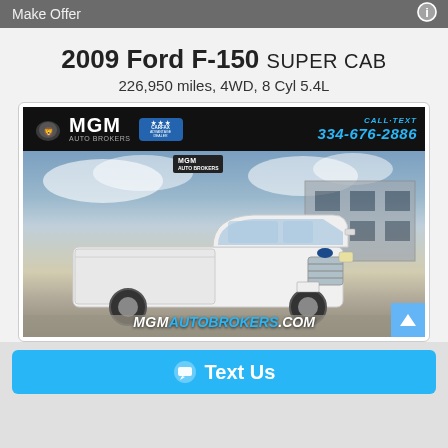Make Offer
2009 Ford F-150 SUPER CAB
226,950 miles, 4WD, 8 Cyl 5.4L
[Figure (photo): White 2009 Ford F-150 Super Cab truck photographed in a dealership parking lot. MGM Auto Brokers dealer banner at top with phone number 334-676-2886 and MGMAUTOBROKERS.COM watermark at bottom.]
Text Us